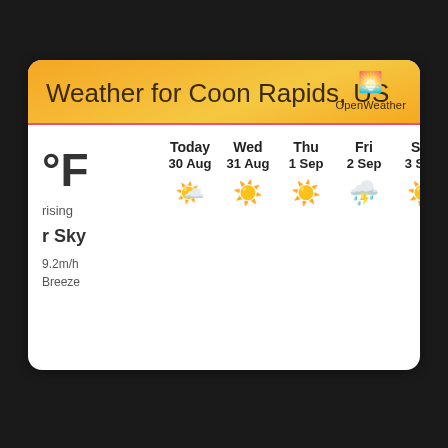Weather for Coon Rapids, US
[Figure (infographic): OpenWeather app screenshot showing weather forecast for Coon Rapids, US. Left panel shows temperature in °F, 'rising', 'r Sky' (Clear Sky), 9.2m/h Breeze. Forecast columns: Today 30 Aug (sunny), Wed 31 Aug (sunny), Thu 1 Sep (sunny), Fri 2 Sep (rain/storm), Sat 3 Sep (sunny), Sun 4 Sep (cloudy), Mon 5 Sep (partly cloudy).]